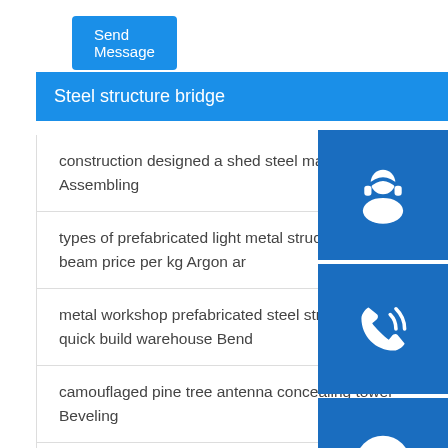Send Message
Steel structure bridge
construction designed a shed steel material stru... Assembling
types of prefabricated light metal structural stee... beam price per kg Argon ar
metal workshop prefabricated steel structure bu... quick build warehouse Bend
camouflaged pine tree antenna concealing tower Beveling
luxury 2 story room prefabircated hotel apartment camp container house polishing